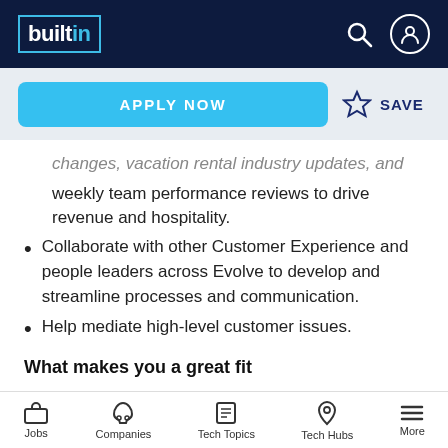builtin
changes, vacation rental industry updates, and weekly team performance reviews to drive revenue and hospitality.
Collaborate with other Customer Experience and people leaders across Evolve to develop and streamline processes and communication.
Help mediate high-level customer issues.
What makes you a great fit
5+ years of experience in customer service
Jobs  Companies  Tech Topics  Tech Hubs  More